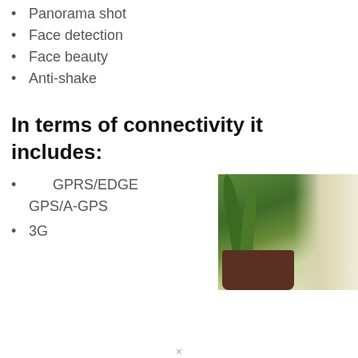Panorama shot
Face detection
Face beauty
Anti-shake
In terms of connectivity it includes:
GPRS/EDGE GPS/A-GPS
[Figure (photo): A potted plant with green leaves against a bright background, partially visible on the right side of the page]
3G